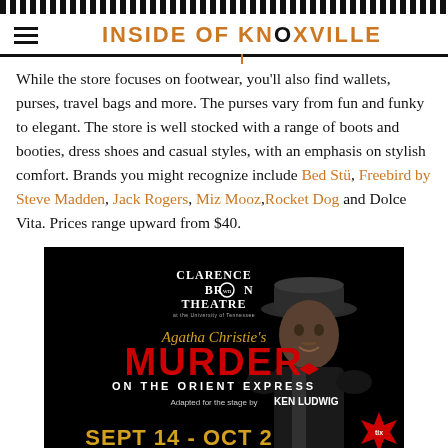INSIDE OF KNOXVILLE
While the store focuses on footwear, you'll also find wallets, purses, travel bags and more. The purses vary from fun and funky to elegant. The store is well stocked with a range of boots and booties, dress shoes and casual styles, with an emphasis on stylish comfort. Brands you might recognize include Bed Stü, Freebird by Steve Madden, Jack Rogers, Miz Mooz, Rocket Dog and Dolce Vita. Prices range upward from $40.
[Figure (photo): Advertisement for Clarence Brown Theatre production of Agatha Christie's Murder on the Orient Express, adapted for the stage by Ken Ludwig. Dates: Sept 14 - Oct 2. Features a man in a bowler hat and tuxedo.]